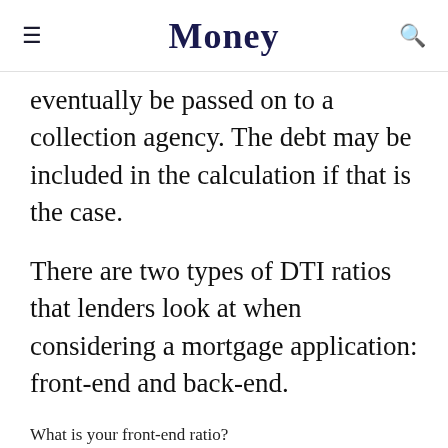Money
eventually be passed on to a collection agency. The debt may be included in the calculation if that is the case.
There are two types of DTI ratios that lenders look at when considering a mortgage application: front-end and back-end.
What is your front-end ratio?
The front-end-DTI ratio, also called the housing ratio, only looks at how much of an applicant's gross income is spent on